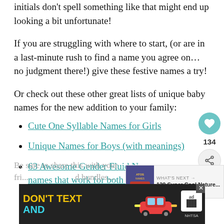initials don't spell something like that might end up looking a bit unfortunate!
If you are struggling with where to start, (or are in a last-minute rush to find a name you agree on…no judgment there!) give these festive names a try!
Or check out these other great lists of unique baby names for the new addition to your family:
Cute One Syllable Names for Girls
Unique Names for Boys (with meanings)
63 Awesome Gender Fluid Names names that work for both girls and boys!)
Be sure to share this with your fri... ...d bundles...
[Figure (advertisement): DON'T TEXT AND [car image] ad banner with NHTSA logo]